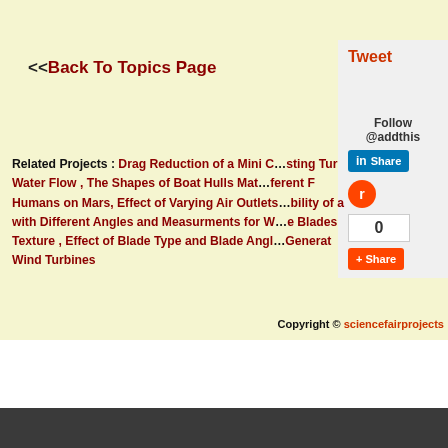<<Back To Topics Page
Related Projects : Drag Reduction of a Mini C...sting Tur Water Flow , The Shapes of Boat Hulls Mat...ferent F Humans on Mars, Effect of Varying Air Outlets...bility of a with Different Angles and Measurments for W...e Blades Texture , Effect of Blade Type and Blade Angl...Generat Wind Turbines
Copyright © sciencefairprojects